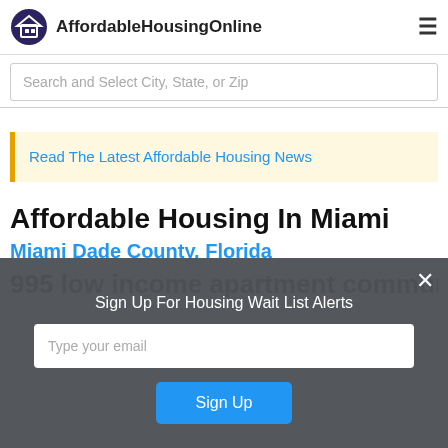AffordableHousingOnline
Search and Select City, State, or Zip
Read The Latest Affordable Housing News
Affordable Housing In Miami
Miami Dade County, Florida
Sign Up For Housing Wait List Alerts
Type your email
Sign Up